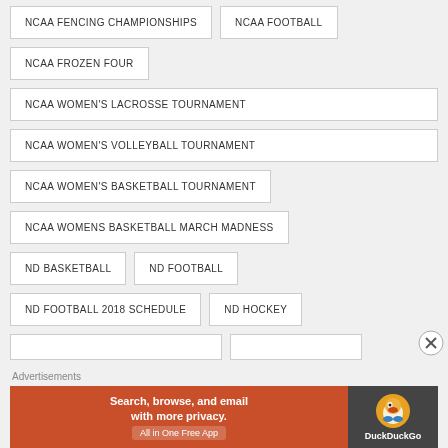NCAA FENCING CHAMPIONSHIPS
NCAA FOOTBALL
NCAA FROZEN FOUR
NCAA WOMEN'S LACROSSE TOURNAMENT
NCAA WOMEN'S VOLLEYBALL TOURNAMENT
NCAA WOMEN'S BASKETBALL TOURNAMENT
NCAA WOMENS BASKETBALL MARCH MADNESS
ND BASKETBALL
ND FOOTBALL
ND FOOTBALL 2018 SCHEDULE
ND HOCKEY
Advertisements
[Figure (other): DuckDuckGo advertisement banner: 'Search, browse, and email with more privacy. All in One Free App']